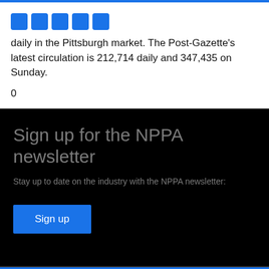[Figure (other): Social media icon buttons (blue squares) at the top of the page]
daily in the Pittsburgh market. The Post-Gazette's latest circulation is 212,714 daily and 347,435 on Sunday.
0
Sign up for the NPPA newsletter
Stay up to date on the industry with the NPPA newsletter:
[Figure (other): Blue 'Sign up' button]
[Figure (logo): NPPA logo text in dark grey footer area]
We use cookies on this site to enhance your user experience